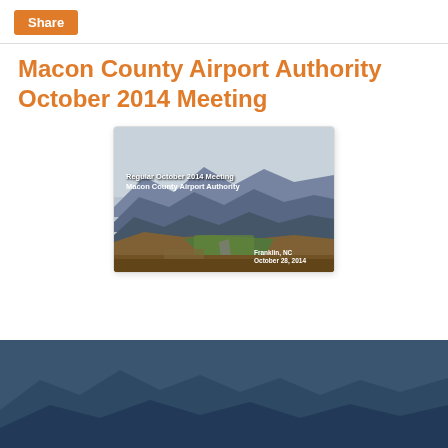Share
Macon County Airport Authority October 2014 Meeting
[Figure (photo): Aerial/landscape photo showing mountain valley with runway, captioned 'Regular October 2014 Meeting / Macon County Airport Authority' with date 'Franklin, NC / October 28, 2014']
[Figure (screenshot): Presentation slide banner showing logo and text 'Macon County Airport Authority October 2014 M...' with subheading 'Regular October 2014 Meeting / Macon County Airport Authority']